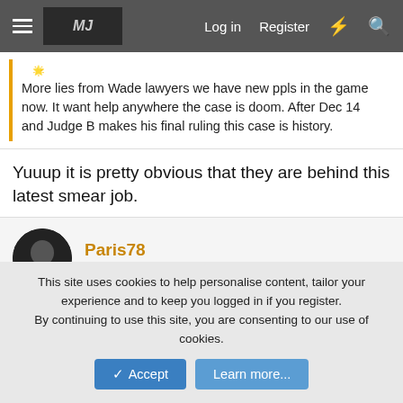Menu | MJ Forum | Log in | Register
More lies from Wade lawyers we have new ppls in the game now. It want help anywhere the case is doom. After Dec 14 and Judge B makes his final ruling this case is history.
Yuuup it is pretty obvious that they are behind this latest smear job.
Paris78
Premium Member
Nov 26, 2017
#17,468
<blockquote class="twitter-tweet" data-lang="de"><p lang="en"
This site uses cookies to help personalise content, tailor your experience and to keep you logged in if you register.
By continuing to use this site, you are consenting to our use of cookies.